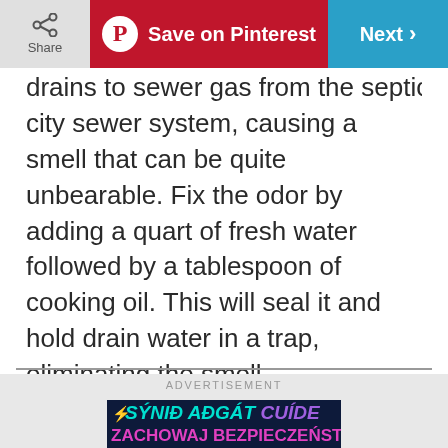Share | Save on Pinterest | Next
drains to sewer gas from the septic tank of the city sewer system, causing a smell that can be quite unbearable. Fix the odor by adding a quart of fresh water followed by a tablespoon of cooking oil. This will seal it and hold drain water in a trap, eliminating the smell.
ADVERTISEMENT
[Figure (infographic): Advertisement banner with multilingual safety text: SÝNIĐ AÐGÁT, CUÍDE, ZACHOWAJ BEZPIECZEŃST, VAR FÖRSIKTIG, 안전에 유의하, BE SAFE in large white letters on dark blue background]